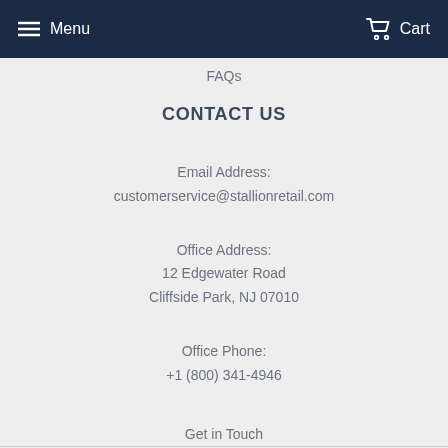Menu  Cart
FAQs
CONTACT US
Email Address:
customerservice@stallionretail.com
Office Address:
12 Edgewater Road
Cliffside Park, NJ 07010
Office Phone:
+1 (800) 341-4946
Get in Touch